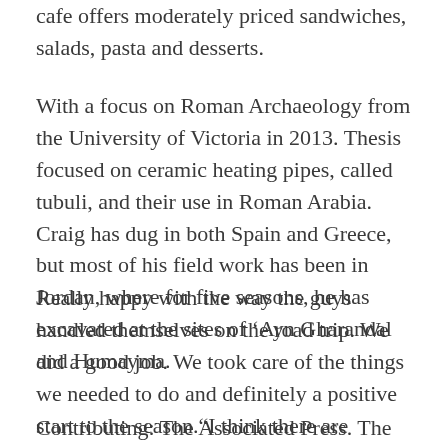cafe offers moderately priced sandwiches, salads, pasta and desserts.
With a focus on Roman Archaeology from the University of Victoria in 2013. Thesis focused on ceramic heating pipes, called tubuli, and their use in Roman Arabia. Craig has dug in both Spain and Greece, but most of his field work has been in Jordan, where for five seasons, he has excavated at the sites of ‘Ayn Gharandal and Humayma.
Really happy with the way the guys handled themselves on the road trip. We did a good job. We took care of the things we needed to do and definitely a positive start to the season.“I think there are always things you can try to improve on, just really sharpening things up and getting better at what we do, Brady said.
Contributing: The Associated Press. The years are